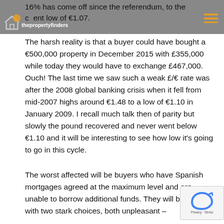16% has come off since the referendum, to the current low of €1.07.
The harsh reality is that a buyer could have bought a €500,000 property in December 2015 with £355,000 while today they would have to exchange £467,000. Ouch! The last time we saw such a weak £/€ rate was after the 2008 global banking crisis when it fell from mid-2007 highs around €1.48 to a low of €1.10 in January 2009. I recall much talk then of parity but slowly the pound recovered and never went below €1.10 and it will be interesting to see how low it's going to go in this cycle.
The worst affected will be buyers who have Spanish mortgages agreed at the maximum level and are unable to borrow additional funds. They will be faced with two stark choices, both unpleasant –